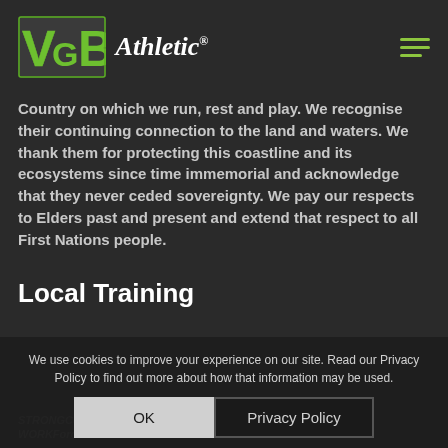[Figure (logo): VGB Athletic logo with green block letters V, G, B and italic white 'Athletic' text with registered trademark symbol]
Country on which we run, rest and play. We recognise their continuing connection to the land and waters. We thank them for protecting this coastline and its ecosystems since time immemorial and acknowledge that they never ceded sovereignty. We pay our respects to Elders past and present and extend that respect to all First Nations people.
Local Training
We use cookies to improve your experience on our site. Read our Privacy Policy to find out more about how that information may be used.
STRONGCorps
WORKForce Co